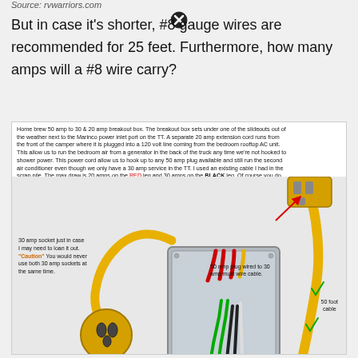Source: rvwarriors.com
But in case it's shorter, #8 gauge wires are recommended for 25 feet. Furthermore, how many amps will a #8 wire carry?
[Figure (photo): Electrical breakout box diagram showing a 50 amp to 30 & 20 amp breakout box with yellow cables, a 50 amp plug wired to 30 amp multi wire cable, a 30 amp socket, and internal wiring with red, green, and black wires. Labels indicate '50 amp plug wired to 30 amp mulit wire cable', '50 foot cable', and '30 amp socket just in case I may need to loan it out. Caution: You would never use both 30 amp sockets at the same time.' Descriptive text overlay explains the setup.]